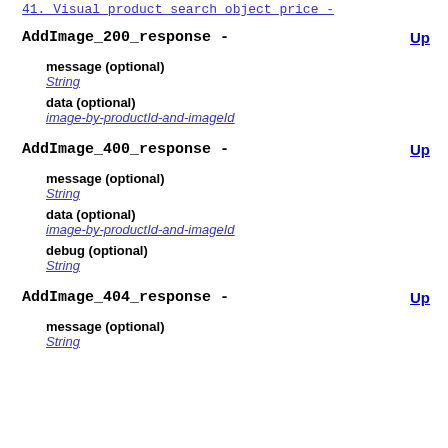41. Visual product search object price -
AddImage_200_response -
Up
message (optional)
String
data (optional)
image-by-productId-and-imageId
AddImage_400_response -
Up
message (optional)
String
data (optional)
image-by-productId-and-imageId
debug (optional)
String
AddImage_404_response -
Up
message (optional)
String